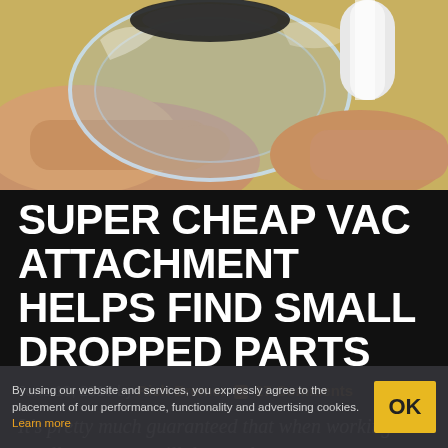[Figure (photo): Hands holding a clear glass or plastic cylindrical container, with a white pipe visible in the upper right, on a yellow/tan background — demonstrating a vacuum attachment for finding small dropped parts.]
SUPER CHEAP VAC ATTACHMENT HELPS FIND SMALL DROPPED PARTS
June 10, 2015 by Rich Bremer 💬 27 Comments
It's pretty much guaranteed that when working with small parts, you will drop at least one
By using our website and services, you expressly agree to the placement of our performance, functionality and advertising cookies. Learn more